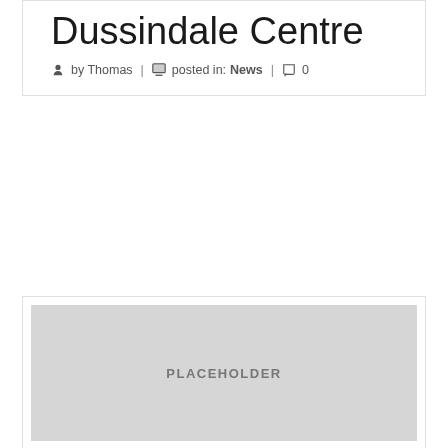Dussindale Centre
by Thomas | posted in: News | 0
[Figure (photo): Placeholder image box for Dussindale Centre article]